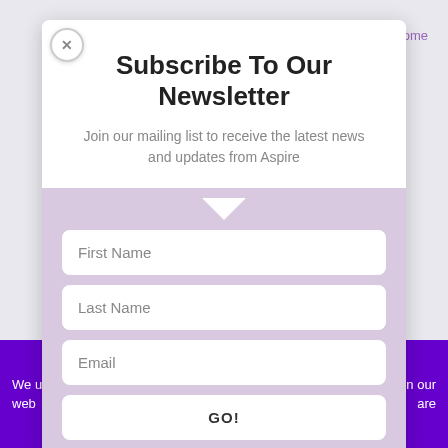Back to Blog home
Subscribe To Our Newsletter
Join our mailing list to receive the latest news and updates from Aspire
First Name
Last Name
Email
GO!
We us... on our web... are